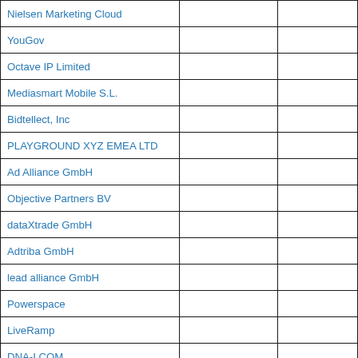| Nielsen Marketing Cloud |  |  |
| YouGov |  |  |
| Octave IP Limited |  |  |
| Mediasmart Mobile S.L. |  |  |
| Bidtellect, Inc |  |  |
| PLAYGROUND XYZ EMEA LTD |  |  |
| Ad Alliance GmbH |  |  |
| Objective Partners BV |  |  |
| dataXtrade GmbH |  |  |
| Adtriba GmbH |  |  |
| lead alliance GmbH |  |  |
| Powerspace |  |  |
| LiveRamp |  |  |
| DNA-I.COM |  |  |
| XAD spoteffects GmbH |  |  |
| Teads France SAS |  |  |
| ShowHeroes SRL |  |  |
| Clipr |  |  |
| PubMatic, Inc |  |  |
| MEDIAMETRIE |  |  |
| Czech Publisher Exchange z.s.p.s. |  |  |